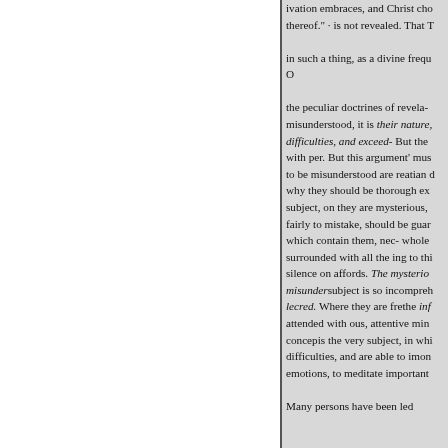ivation embraces, and Christ cho thereof." · is not revealed. That T in such a thing, as a divine frequ O the peculiar doctrines of revela- misunderstood, it is their nature, difficulties, and exceed- But the with per. But this argument' mus to be misunderstood are reatian d why they should be thorough ex subject, on they are mysterious, fairly to mistake, should be guar which contain them, nec- whole surrounded with all the ing to thi silence on affords. The mysterio misundersubject is so incompreh lecred. Where they are frethe inf attended with ous, attentive mind concepis the very subject, in whi difficulties, and are able to imon emotions, to meditate important Many persons have been led